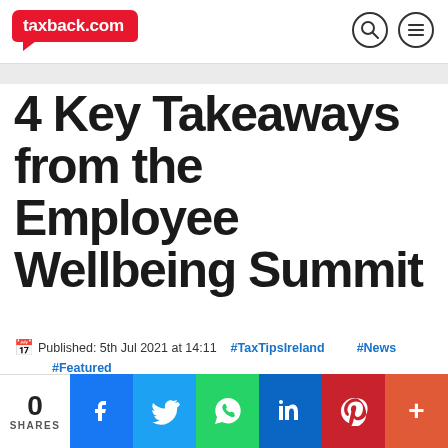[Figure (logo): taxback.com logo — red rounded rectangle with white text and arrow, plus search and menu icons on the right]
4 Key Takeaways from the Employee Wellbeing Summit
Published: 5th Jul 2021 at 14:11   #TaxTipsIreland   #News   #Featured
[Figure (infographic): Social share bar showing 0 SHARES, Facebook, Twitter, WhatsApp, LinkedIn, Pinterest, and more buttons]